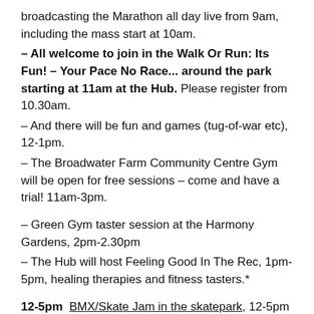broadcasting the Marathon all day live from 9am, including the mass start at 10am.
– All welcome to join in the Walk Or Run: Its Fun! – Your Pace No Race... around the park starting at 11am at the Hub. Please register from 10.30am.
– And there will be fun and games (tug-of-war etc), 12-1pm.
– The Broadwater Farm Community Centre Gym will be open for free sessions – come and have a trial! 11am-3pm.
– Green Gym taster session at the Harmony Gardens, 2pm-2.30pm
– The Hub will host Feeling Good In The Rec, 1pm-5pm, healing therapies and fitness tasters.*
12-5pm  BMX/Skate Jam in the skatepark, 12-5pm with competitions, music and food.